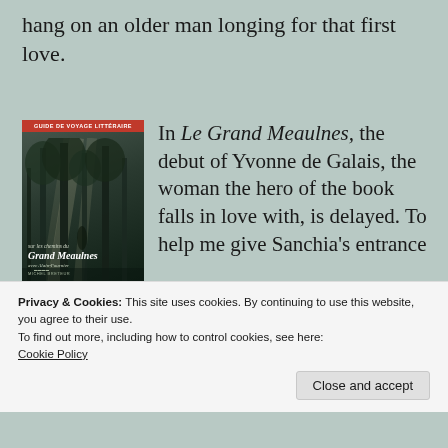hang on an older man longing for that first love.
[Figure (photo): Book cover of 'Sur les chemins du Grand Meaulnes avec Alain-Fournier' with a red banner at the top reading 'GUIDE DE VOYAGE LITTÉRAIRE', showing a forest scene with trees and light filtering through, with italic script title text]
In Le Grand Meaulnes, the debut of Yvonne de Galais, the woman the hero of the book falls in love with, is delayed. To help me give Sanchia's entrance maximum effect, I studied the build-up to
Privacy & Cookies: This site uses cookies. By continuing to use this website, you agree to their use.
To find out more, including how to control cookies, see here:
Cookie Policy
Close and accept